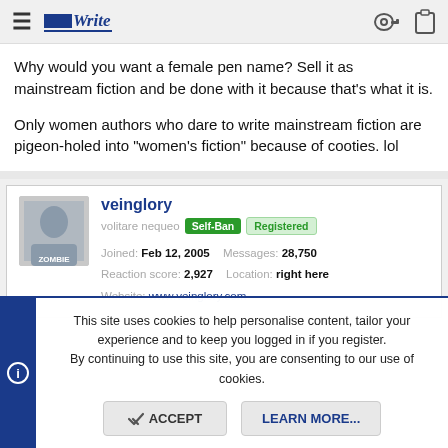AbsoluteWrite — navigation bar with hamburger menu, logo, key and clipboard icons
Why would you want a female pen name? Sell it as mainstream fiction and be done with it because that's what it is.
Only women authors who dare to write mainstream fiction are pigeon-holed into "women's fiction" because of cooties. lol
veinglory
volitare nequeo [Self-Ban] [Registered]
Joined: Feb 12, 2005  Messages: 28,750
Reaction score: 2,927  Location: right here
Website: www.veinglory.com
This site uses cookies to help personalise content, tailor your experience and to keep you logged in if you register. By continuing to use this site, you are consenting to our use of cookies.